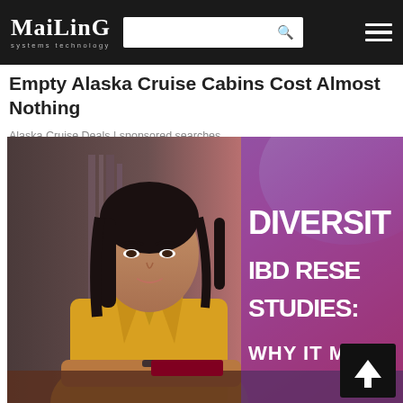Mailing systems technology
Empty Alaska Cruise Cabins Cost Almost Nothing
Alaska Cruise Deals | sponsored searches
[Figure (photo): A young Asian woman in a yellow blouse leaning on a table, with text overlay reading 'DIVERSITY IBD RESEARCH STUDIES: WHY IT MAT[TERS]' on a purple-to-red gradient background. A scroll-to-top arrow button appears in the bottom right corner.]